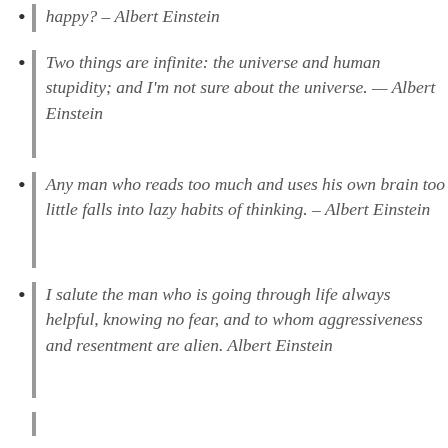happy? – Albert Einstein
Two things are infinite: the universe and human stupidity; and I'm not sure about the universe. — Albert Einstein
Any man who reads too much and uses his own brain too little falls into lazy habits of thinking. – Albert Einstein
I salute the man who is going through life always helpful, knowing no fear, and to whom aggressiveness and resentment are alien. Albert Einstein